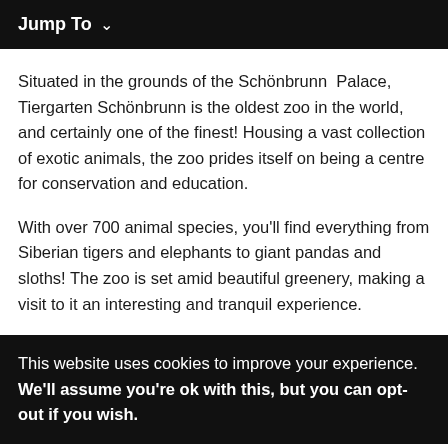Jump To ∨
Situated in the grounds of the Schönbrunn Palace, Tiergarten Schönbrunn is the oldest zoo in the world, and certainly one of the finest! Housing a vast collection of exotic animals, the zoo prides itself on being a centre for conservation and education.
With over 700 animal species, you'll find everything from Siberian tigers and elephants to giant pandas and sloths! The zoo is set amid beautiful greenery, making a visit to it an interesting and tranquil experience.
This website uses cookies to improve your experience. We'll assume you're ok with this, but you can opt-out if you wish.